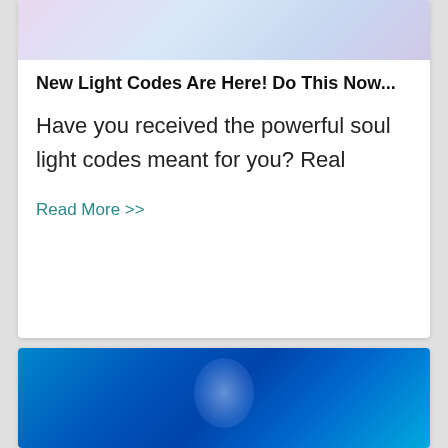[Figure (photo): Soft pastel-toned spiritual image with light purple and blue hues, partially cropped at top]
New Light Codes Are Here! Do This Now...
Have you received the powerful soul light codes meant for you? Real
Read More >>
[Figure (photo): Vivid blue digital/spiritual themed image with glowing figure and geometric patterns]